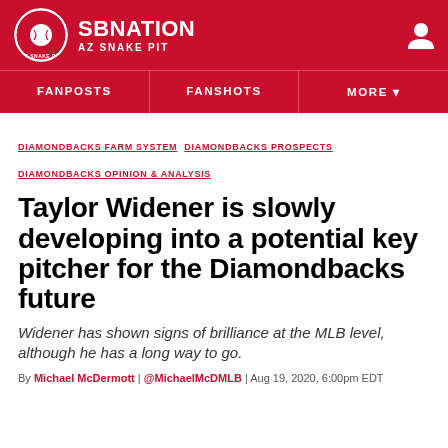SB NATION / AZ SNAKE PIT
FANPOSTS  FANSHOTS  MORE
DIAMONDBACKS FARM SYSTEM  DIAMONDBACKS PROSPECTS  DIAMONDBACKS OPINION & ANALYSIS
Taylor Widener is slowly developing into a potential key pitcher for the Diamondbacks future
Widener has shown signs of brilliance at the MLB level, although he has a long way to go.
By Michael McDermott | @MichaelMcDMLB | Aug 19, 2020, 6:00pm EDT